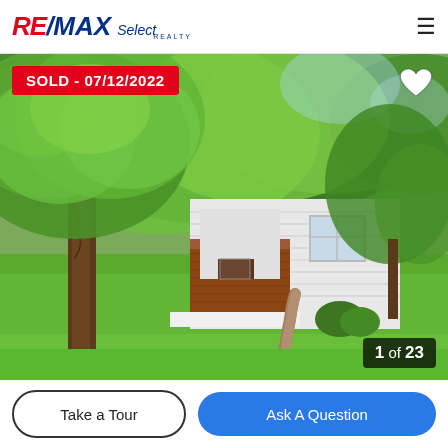[Figure (logo): RE/MAX Select Realty logo in red and blue with italic text and hamburger menu icon on right]
[Figure (photo): Exterior photo of a residential house with white/grey siding and brick facade, large tree in foreground, lush green lawn, walkway leading to door, green trees in background. Sold badge showing 07/12/2022 in upper left. Heart icon upper right. Photo counter '1 of 23' in lower right.]
SOLD - 07/12/2022
1 of 23
Take a Tour
Ask A Question